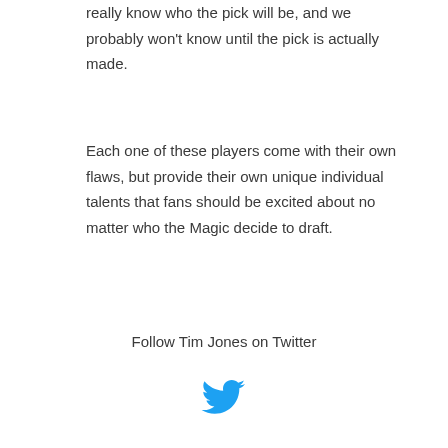really know who the pick will be, and we probably won't know until the pick is actually made.
Each one of these players come with their own flaws, but provide their own unique individual talents that fans should be excited about no matter who the Magic decide to draft.
Follow Tim Jones on Twitter
[Figure (logo): Twitter bird logo in blue]